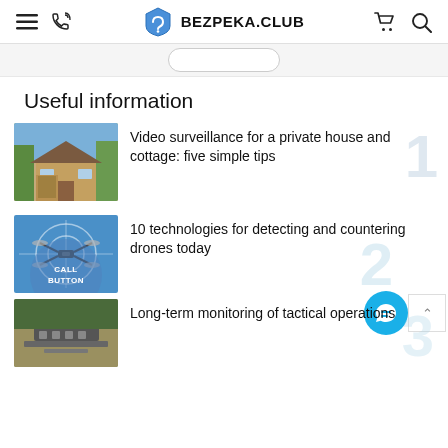BEZPEKA.CLUB
Useful information
[Figure (photo): Thumbnail image of a private house/cottage]
Video surveillance for a private house and cottage: five simple tips
[Figure (photo): Thumbnail image of a drone being tracked with crosshair overlay on blue background]
10 technologies for detecting and countering drones today
[Figure (photo): Thumbnail image of tactical equipment/operations]
Long-term monitoring of tactical operations